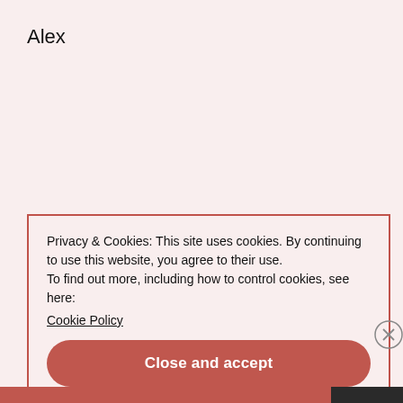Alex
Privacy & Cookies: This site uses cookies. By continuing to use this website, you agree to their use.
To find out more, including how to control cookies, see here:
Cookie Policy
Close and accept